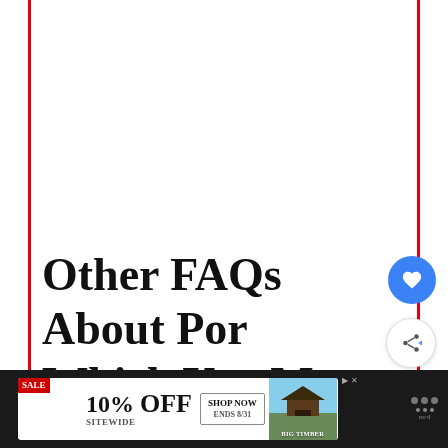Other FAQs About Por Which You May Be Interested In.
[Figure (other): Heart/like button (blue circle with white heart icon) and share button (white circle with share icon) floating UI elements on the right side of the page]
[Figure (other): WHAT'S NEXT widget showing a thumbnail of corn with text 'How long can corn stay in...']
[Figure (other): Advertisement banner: SALE 10% OFF SITEWIDE, SHOP NOW ENDS 8/31, BIG TIMBER product image with gazebo]